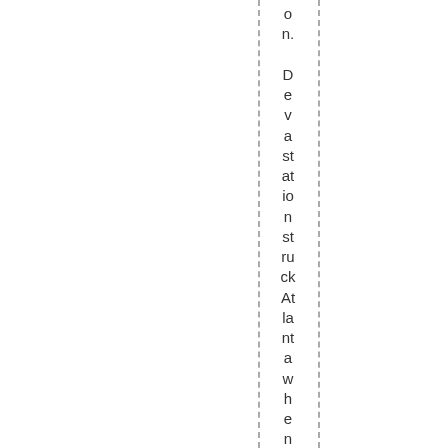on. Devastation struck Atlanta when a bomb went